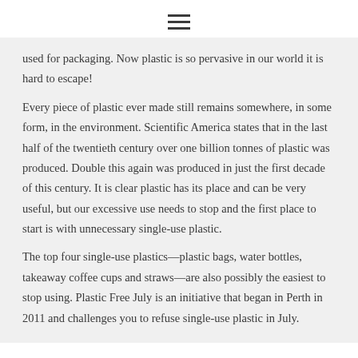☰
used for packaging. Now plastic is so pervasive in our world it is hard to escape!
Every piece of plastic ever made still remains somewhere, in some form, in the environment. Scientific America states that in the last half of the twentieth century over one billion tonnes of plastic was produced. Double this again was produced in just the first decade of this century. It is clear plastic has its place and can be very useful, but our excessive use needs to stop and the first place to start is with unnecessary single-use plastic.
The top four single-use plastics—plastic bags, water bottles, takeaway coffee cups and straws—are also possibly the easiest to stop using. Plastic Free July is an initiative that began in Perth in 2011 and challenges you to refuse single-use plastic in July.